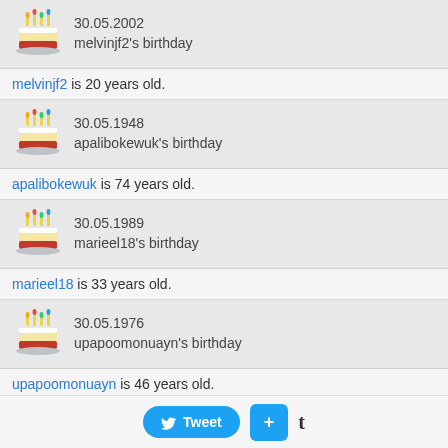[Figure (illustration): Birthday cake emoji with candles, date 30.05.2002, text: melvinjf2's birthday]
melvinjf2 is 20 years old.
[Figure (illustration): Birthday cake emoji with candles, date 30.05.1948, text: apalibokewuk's birthday]
apalibokewuk is 74 years old.
[Figure (illustration): Birthday cake emoji with candles, date 30.05.1989, text: marieel18's birthday]
marieel18 is 33 years old.
[Figure (illustration): Birthday cake emoji with candles, date 30.05.1976, text: upapoomonuayn's birthday]
upapoomonuayn is 46 years old.
[Figure (illustration): Birthday cake emoji with candles, date 30.05.1994, text: inezxv16's birthday]
inezxv16 is 28 years old.
[Figure (illustration): Birthday cake emoji with candles, date 30.05.1957, text: itimivuk's birthday]
Tweet  +  t